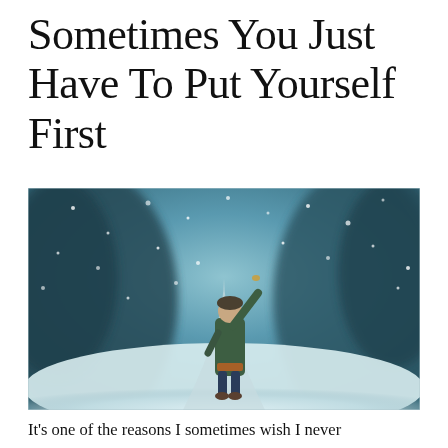Sometimes You Just Have To Put Yourself First
[Figure (photo): A young child in a dark green winter coat with hood, standing on a snowy path surrounded by blurred blue-teal trees, reaching one arm upward toward falling snow or a small object in the air.]
It's one of the reasons I sometimes wish I never